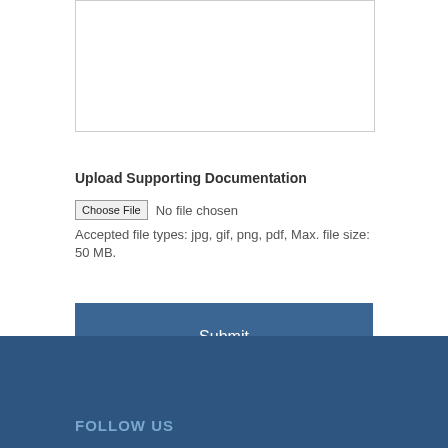[Figure (other): Empty white box with light gray border at top of page]
Upload Supporting Documentation
Choose File  No file chosen
Accepted file types: jpg, gif, png, pdf, Max. file size: 50 MB.
Submit
FOLLOW US